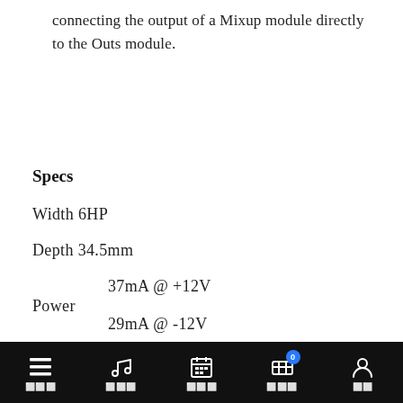connecting the output of a Mixup module directly to the Outs module.
Specs
Width 6HP
Depth 34.5mm
Power   37mA @ +12V
        29mA @ -12V
☰ [menu] ♪ [music] 📅 [calendar] 🛒 0 [cart] 👤 [profile]